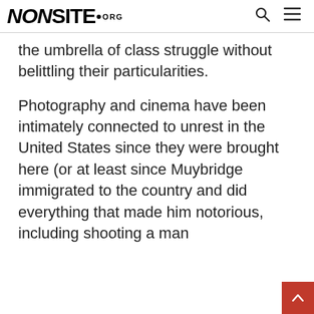NONSITE.ORG
the umbrella of class struggle without belittling their particularities.
Photography and cinema have been intimately connected to unrest in the United States since they were brought here (or at least since Muybridge immigrated to the country and did everything that made him notorious, including shooting a man